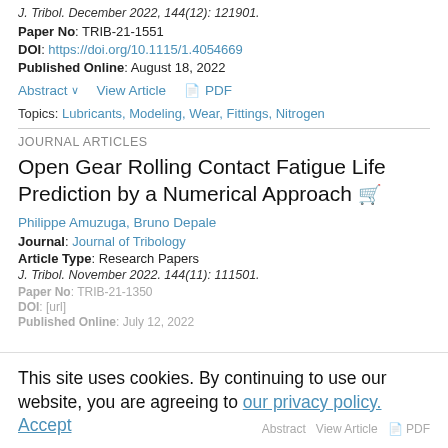J. Tribol. December 2022, 144(12): 121901.
Paper No: TRIB-21-1551
DOI: https://doi.org/10.1115/1.4054669
Published Online: August 18, 2022
Abstract ∨   View Article   🛒 PDF
Topics: Lubricants, Modeling, Wear, Fittings, Nitrogen
JOURNAL ARTICLES
Open Gear Rolling Contact Fatigue Life Prediction by a Numerical Approach 🛒
Philippe Amuzuga, Bruno Depale
Journal: Journal of Tribology
Article Type: Research Papers
J. Tribol. November 2022. 144(11): 111501.
Paper No: TRIB-21-1350
DOI: [url]
Published Online: July 12, 2022
This site uses cookies. By continuing to use our website, you are agreeing to our privacy policy. Accept